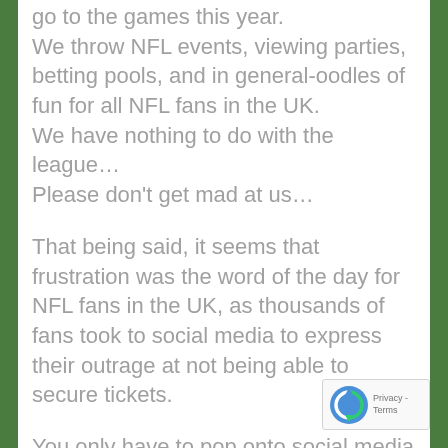go to the games this year. We throw NFL events, viewing parties, betting pools, and in general-oodles of fun for all NFL fans in the UK. We have nothing to do with the league… Please don't get mad at us…
That being said, it seems that frustration was the word of the day for NFL fans in the UK, as thousands of fans took to social media to express their outrage at not being able to secure tickets.
You only have to pop onto social media to see the vented anger in play, as it emerged that despite being told there would be no queue until 9:30am, that many were already told th... there were 170,000 people ahead of them in